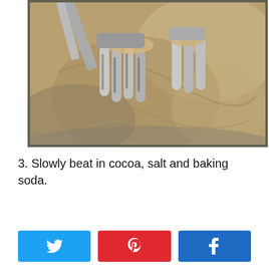[Figure (photo): Close-up photo of electric hand mixer beaters mixing brown batter in a metal bowl]
3. Slowly beat in cocoa, salt and baking soda.
[Figure (infographic): Social share buttons: Twitter (blue), Pinterest (red), Facebook (blue)]